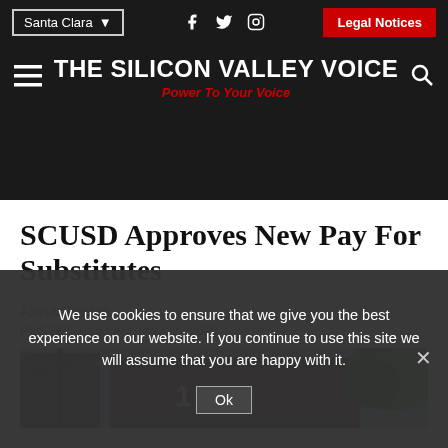THE SILICON VALLEY VOICE — Power To Your Voice | Santa Clara | Legal Notices
SCUSD Approves New Pay For Substitutes
Alissa Soroten
POSTED 10:43 AM, May 15, 2020
[Figure (photo): Exterior photo of building with number 1889 on facade, trees visible in background]
We use cookies to ensure that we give you the best experience on our website. If you continue to use this site we will assume that you are happy with it.